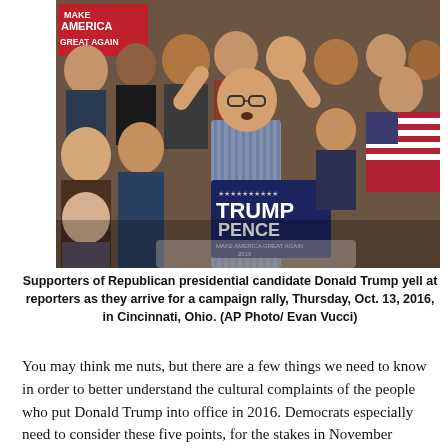[Figure (photo): Crowd of supporters of Republican presidential candidate Donald Trump at a campaign rally, with a man raising both arms holding a Trump-Pence sign, and a Make America Great Again banner visible in the upper left.]
Supporters of Republican presidential candidate Donald Trump yell at reporters as they arrive for a campaign rally, Thursday, Oct. 13, 2016, in Cincinnati, Ohio. (AP Photo/ Evan Vucci)
You may think me nuts, but there are a few things we need to know in order to better understand the cultural complaints of the people who put Donald Trump into office in 2016. Democrats especially need to consider these five points, for the stakes in November couldn't be higher. I know there's a lot of craziness within Trump's coalition (I wrote a book about part of it), but I'm